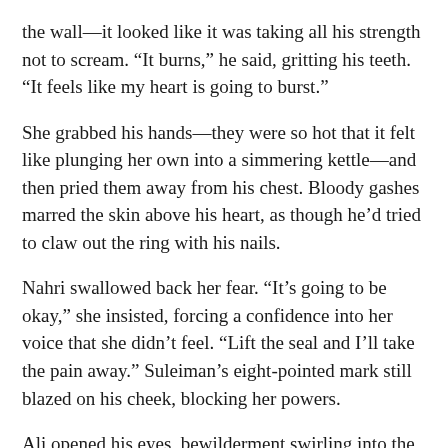the wall—it looked like it was taking all his strength not to scream. “It burns,” he said, gritting his teeth. “It feels like my heart is going to burst.”
She grabbed his hands—they were so hot that it felt like plunging her own into a simmering kettle—and then pried them away from his chest. Bloody gashes marred the skin above his heart, as though he’d tried to claw out the ring with his nails.
Nahri swallowed back her fear. “It’s going to be okay,” she insisted, forcing a confidence into her voice that she didn’t feel. “Lift the seal and I’ll take the pain away.” Suleiman’s eight-pointed mark still blazed on his cheek, blocking her powers.
Ali opened his eyes, bewilderment swirling into the pain in his expression. “Lift the seal?”